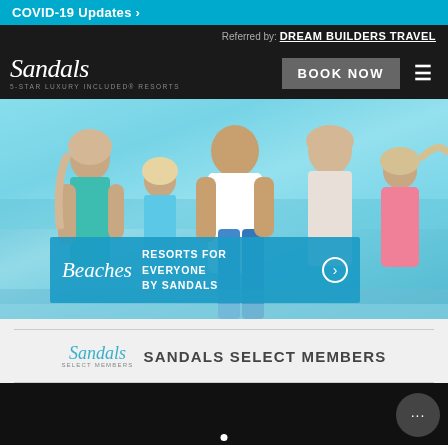COVID-19 Updates >
Referred by: DREAM BUILDERS TRAVEL
[Figure (logo): Sandals 5-Star Luxury Included Resorts logo in white italic script on dark background]
BOOK NOW
[Figure (photo): Happy family running on a tropical beach with turquoise water in background]
[Figure (logo): Beaches Resorts banner overlay with italic logo text and tagline RESORTS FOR EVERYONE BY SANDALS with arrow button]
[Figure (logo): Sandals Select Members logo in teal italic script with SELECT MEMBERS text]
SANDALS SELECT MEMBERS
[Figure (other): Chat support button with three dots icon in dark circle]